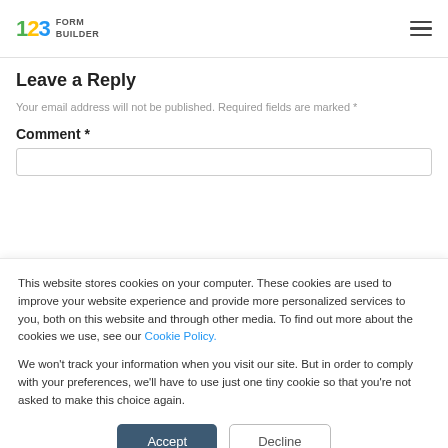123 FORM BUILDER
Leave a Reply
Your email address will not be published. Required fields are marked *
Comment *
This website stores cookies on your computer. These cookies are used to improve your website experience and provide more personalized services to you, both on this website and through other media. To find out more about the cookies we use, see our Cookie Policy.
We won't track your information when you visit our site. But in order to comply with your preferences, we'll have to use just one tiny cookie so that you're not asked to make this choice again.
Accept | Decline